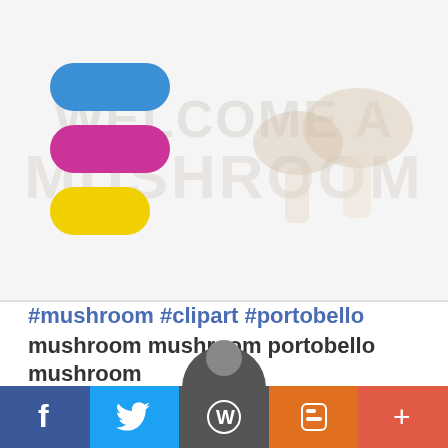[Figure (logo): Three horizontal pill-shaped elements: blue on top, magenta/pink in middle, yellow on bottom, forming a stacked logo]
[Figure (illustration): Faint watermark of two mushrooms (portobello style) in cream/tan tones in top-right background, with text 'welcome a mushroom' as watermark]
#mushroom #clipart #portobello mushroom mushroom portobello mushroom
[Figure (illustration): Partial avatar/profile photo visible at bottom center, just the top of a person's head]
[Figure (infographic): Social share bar with five buttons: Facebook (blue, f icon), Twitter (light blue, bird icon), WordPress (gray, W icon), Blogger (orange, B icon), More (red-orange, + icon)]